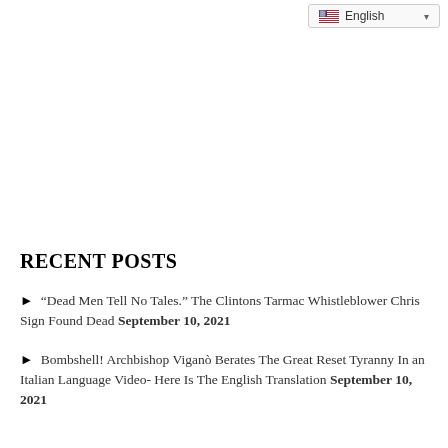English
RECENT POSTS
► “Dead Men Tell No Tales.” The Clintons Tarmac Whistleblower Chris Sign Found Dead September 10, 2021
► Bombshell! Archbishop Viganò Berates The Great Reset Tyranny In an Italian Language Video- Here Is The English Translation September 10, 2021